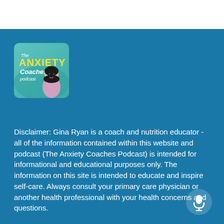[Figure (logo): The Anxiety Coaches Podcast logo — colorful square image with bold text 'The ANXIETY Coaches podcast' and a woman's illustration]
Disclaimer: Gina Ryan is a coach and nutrition educator -all of the information contained within this website and podcast (The Anxiety Coaches Podcast) is intended for informational and educational purposes only. The information on this site is intended to educate and inspire self-care. Always consult your primary care physician or another health professional with your health concerns and questions.